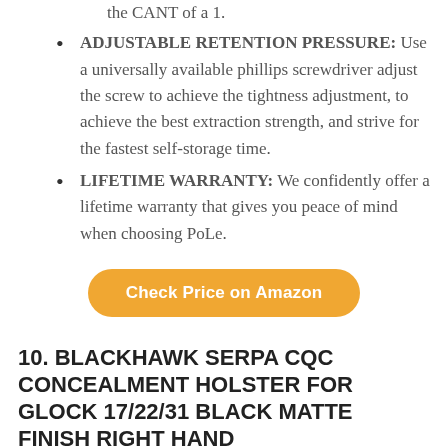the CANT of a 1.
ADJUSTABLE RETENTION PRESSURE: Use a universally available phillips screwdriver adjust the screw to achieve the tightness adjustment, to achieve the best extraction strength, and strive for the fastest self-storage time.
LIFETIME WARRANTY: We confidently offer a lifetime warranty that gives you peace of mind when choosing PoLe.
Check Price on Amazon
10. BLACKHAWK SERPA CQC CONCEALMENT HOLSTER FOR GLOCK 17/22/31 BLACK MATTE FINISH RIGHT HAND